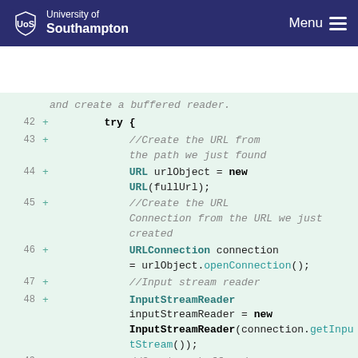University of Southampton — Menu
[Figure (screenshot): Code diff view showing Java code lines 42-50 with line numbers, plus signs, and syntax-highlighted code on a light green background. Lines include try block, URL creation, URLConnection, InputStreamReader, and BufferedReader declarations.]